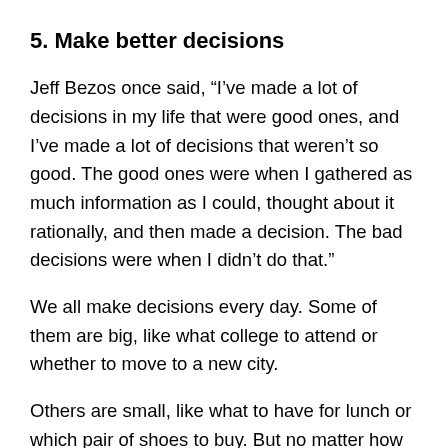5. Make better decisions
Jeff Bezos once said, “I’ve made a lot of decisions in my life that were good ones, and I’ve made a lot of decisions that weren’t so good. The good ones were when I gathered as much information as I could, thought about it rationally, and then made a decision. The bad decisions were when I didn’t do that.”
We all make decisions every day. Some of them are big, like what college to attend or whether to move to a new city.
Others are small, like what to have for lunch or which pair of shoes to buy. But no matter how